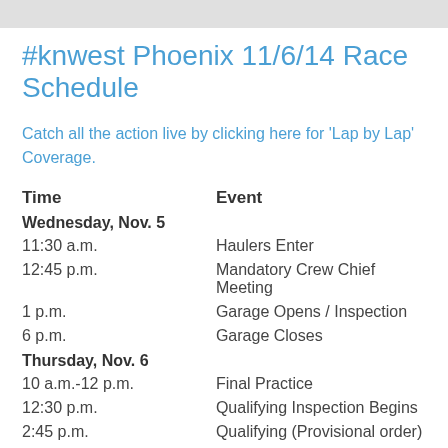#knwest Phoenix 11/6/14 Race Schedule
Catch all the action live by clicking here for 'Lap by Lap' Coverage.
| Time | Event |
| --- | --- |
| Wednesday, Nov. 5 |  |
| 11:30 a.m. | Haulers Enter |
| 12:45 p.m. | Mandatory Crew Chief Meeting |
| 1 p.m. | Garage Opens / Inspection |
| 6 p.m. | Garage Closes |
| Thursday, Nov. 6 |  |
| 10 a.m.-12 p.m. | Final Practice |
| 12:30 p.m. | Qualifying Inspection Begins |
| 2:45 p.m. | Qualifying (Provisional order) |